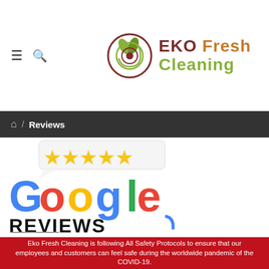EKO Fresh Cleaning
Home / Reviews
[Figure (logo): Google Reviews logo with five gold stars above the Google wordmark and REVIEWS text below]
Eko Fresh Cleaning is following All Safety Protocols to ensure that our employees and customers can feel safe during the worldwide pandemic of the COVID-19.